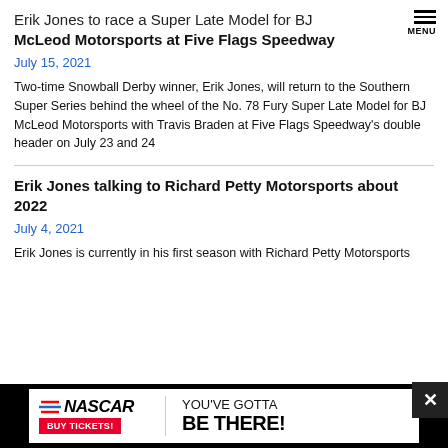MENU
Erik Jones to race a Super Late Model for BJ McLeod Motorsports at Five Flags Speedway
July 15, 2021
Two-time Snowball Derby winner, Erik Jones, will return to the Southern Super Series behind the wheel of the No. 78 Fury Super Late Model for BJ McLeod Motorsports with Travis Braden at Five Flags Speedway's double header on July 23 and 24
Erik Jones talking to Richard Petty Motorsports about 2022
July 4, 2021
Erik Jones is currently in his first season with Richard Petty Motorsports
[Figure (infographic): NASCAR advertisement banner: NASCAR logo with BUY TICKETS button, and text YOU'VE GOTTA BE THERE!]